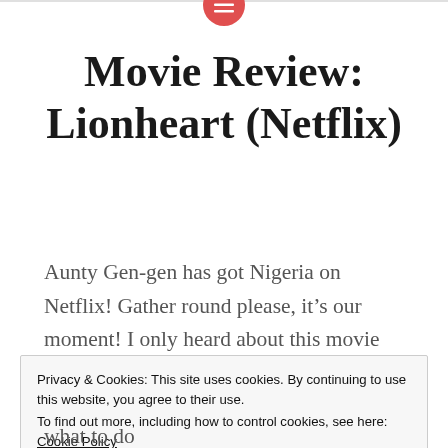[menu icon / navigation bar]
Movie Review: Lionheart (Netflix)
Aunty Gen-gen has got Nigeria on Netflix! Gather round please, it’s our moment! I only heard about this movie today and my Netflix subscription expires on the 10th so I decided to see it even though I have a long trip back to school this morning.
Privacy & Cookies: This site uses cookies. By continuing to use this website, you agree to their use.
To find out more, including how to control cookies, see here: Cookie Policy
Close and accept
what to do